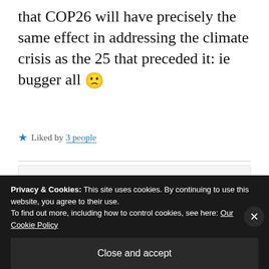that COP26 will have precisely the same effect in addressing the climate crisis as the 25 that preceded it: ie bugger all 🙁
★ Liked by 3 people
Sustain blog
MARCH 27, 2021 AT 8:30 PM
Privacy & Cookies: This site uses cookies. By continuing to use this website, you agree to their use.
To find out more, including how to control cookies, see here: Our Cookie Policy
Close and accept